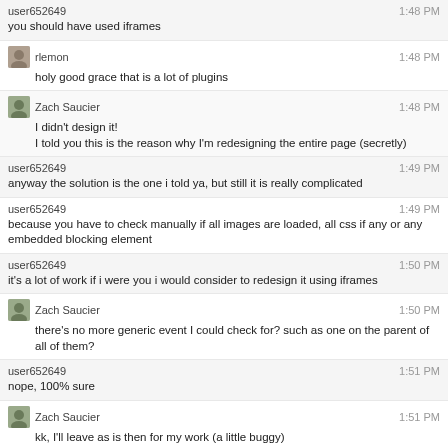user652649 — 1:48 PM
you should have used iframes
rlemon — 1:48 PM
holy good grace that is a lot of plugins
Zach Saucier — 1:48 PM
I didn't design it!
I told you this is the reason why I'm redesigning the entire page (secretly)
user652649 — 1:49 PM
anyway the solution is the one i told ya, but still it is really complicated
user652649 — 1:49 PM
because you have to check manually if all images are loaded, all css if any or any embedded blocking element
user652649 — 1:50 PM
it's a lot of work if i were you i would consider to redesign it using iframes
Zach Saucier — 1:50 PM
there's no more generic event I could check for? such as one on the parent of all of them?
user652649 — 1:51 PM
nope, 100% sure
Zach Saucier — 1:51 PM
kk, I'll leave as is then for my work (a little buggy)